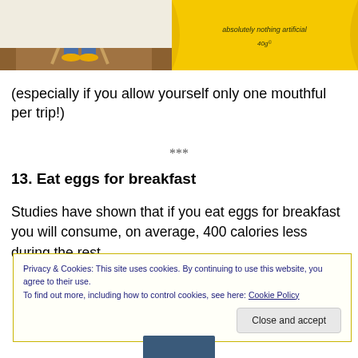[Figure (photo): Left: person sitting on wooden stool on hardwood floor wearing jeans and yellow shoes. Right: yellow food packaging with text 'absolutely nothing artificial' and '40g'.]
(especially if you allow yourself only one mouthful per trip!)
***
13. Eat eggs for breakfast
Studies have shown that if you eat eggs for breakfast you will consume, on average, 400 calories less during the rest
Privacy & Cookies: This site uses cookies. By continuing to use this website, you agree to their use.
To find out more, including how to control cookies, see here: Cookie Policy
Close and accept